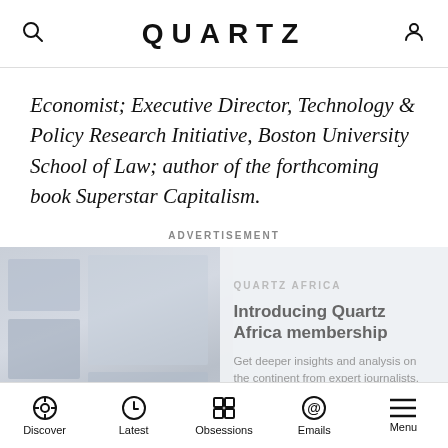QUARTZ
Economist; Executive Director, Technology & Policy Research Initiative, Boston University School of Law; author of the forthcoming book Superstar Capitalism.
ADVERTISEMENT
[Figure (screenshot): Quartz Africa membership advertisement with photos and promotional text: 'Introducing Quartz Africa membership. Get deeper insights and analysis on the continent from expert journalists.']
Discover  Latest  Obsessions  Emails  Menu